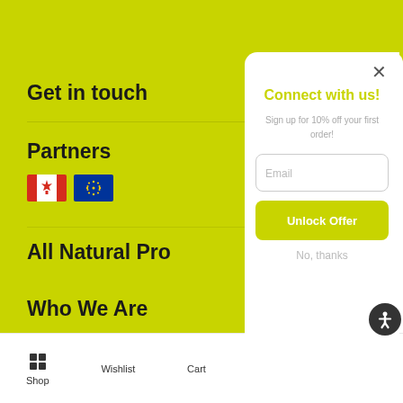Get in touch
Partners
[Figure (illustration): Canadian flag and EU flag side by side]
All Natural Pro
Who We Are
Support
[Figure (screenshot): Modal popup: Connect with us! Sign up for 10% off your first order! Email input field, Unlock Offer button, No thanks link. Close X button. Accessibility icon on right edge.]
Shop   Wishlist   Cart   Account   Search